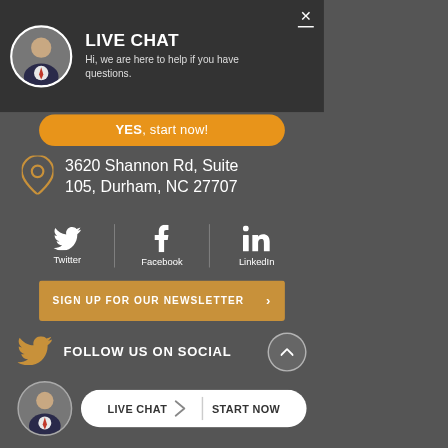LIVE CHAT
Hi, we are here to help if you have questions.
YES, start now!
3620 Shannon Rd, Suite 105, Durham, NC 27707
Twitter | Facebook | LinkedIn
SIGN UP FOR OUR NEWSLETTER
FOLLOW US ON SOCIAL
LIVE CHAT  START NOW